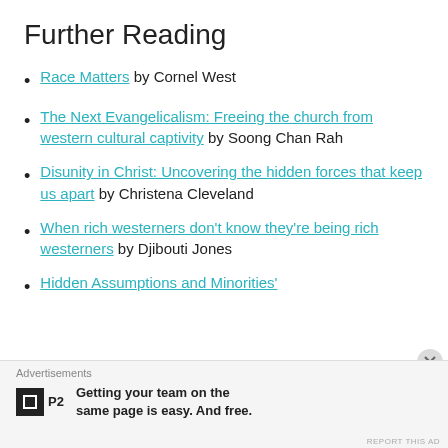Further Reading
Race Matters by Cornel West
The Next Evangelicalism: Freeing the church from western cultural captivity by Soong Chan Rah
Disunity in Christ: Uncovering the hidden forces that keep us apart by Christena Cleveland
When rich westerners don't know they're being rich westerners by Djibouti Jones
Hidden Assumptions and Minorities' [cut off]
Advertisements
Getting your team on the same page is easy. And free.